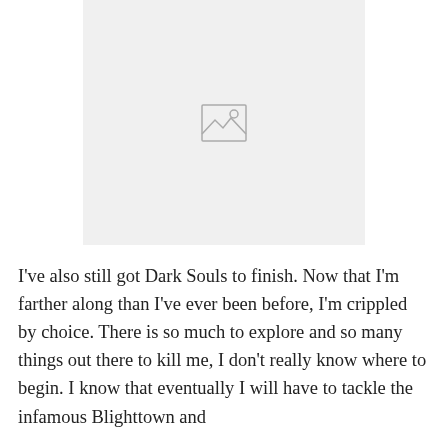[Figure (other): Image placeholder with a mountain/landscape icon in the center on a light grey background]
I've also still got Dark Souls to finish. Now that I'm farther along than I've ever been before, I'm crippled by choice. There is so much to explore and so many things out there to kill me, I don't really know where to begin. I know that eventually I will have to tackle the infamous Blighttown and